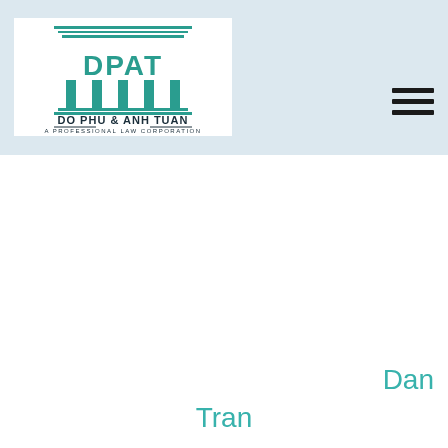[Figure (logo): Do Phu & Anh Tuan - A Professional Law Corporation logo with Greek column pillar graphic and DPAT initials in teal/green color]
Dan
Tran